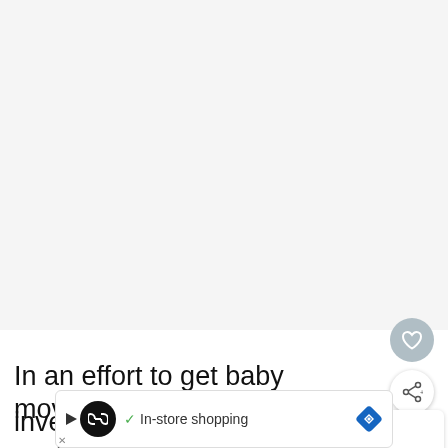[Figure (photo): Large image area, mostly white/blank, part of a blog/article screenshot]
[Figure (other): Heart/like circular button (grey) and share circular button (white with shadow), UI overlay elements on the right side]
[Figure (other): WHAT'S NEXT panel with avatar photo and text 'Drooling For Oats']
In an effort to get baby moving, I did so... inversions and yoga poses for a while in the
[Figure (other): Advertisement bar at bottom: circular black logo with infinity symbol, checkmark, 'In-store shopping', blue diamond navigation icon]